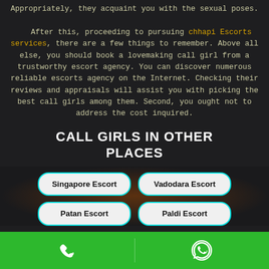Appropriately, they acquaint you with the sexual poses. After this, proceeding to pursuing chhapi Escorts services, there are a few things to remember. Above all else, you should book a lovemaking call girl from a trustworthy escort agency. You can discover numerous reliable escorts agency on the Internet. Checking their reviews and appraisals will assist you with picking the best call girls among them. Second, you ought not to address the cost inquired.
CALL GIRLS IN OTHER PLACES
Singapore Escort
Vadodara Escort
Patan Escort
Paldi Escort
[Phone icon] [WhatsApp icon]